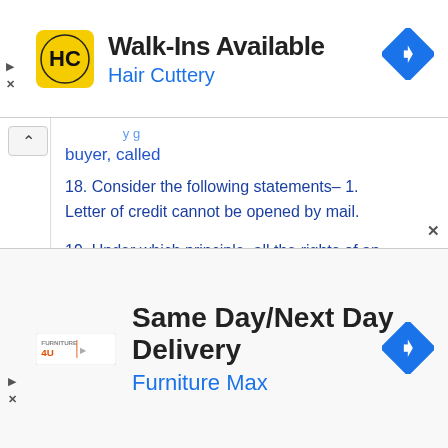[Figure (logo): Hair Cuttery ad banner with logo, Walk-Ins Available text, and navigation arrow]
buyer, called
18. Consider the following statements– 1. Letter of credit cannot be opened by mail.
19. Under which principle, all the rights of an insured are transferred to insurance company after making payment of claim
[Figure (logo): Furniture Max ad banner with logo, Same Day/Next Day Delivery text, and navigation arrow]